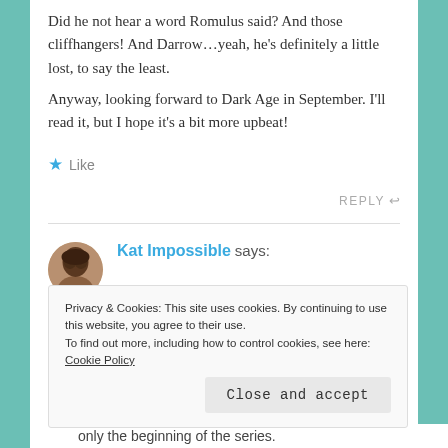Did he not hear a word Romulus said? And those cliffhangers! And Darrow…yeah, he's definitely a little lost, to say the least. Anyway, looking forward to Dark Age in September. I'll read it, but I hope it's a bit more upbeat!
★ Like
REPLY ↩
Kat Impossible says:
Privacy & Cookies: This site uses cookies. By continuing to use this website, you agree to their use.
To find out more, including how to control cookies, see here: Cookie Policy
Close and accept
only the beginning of the series.